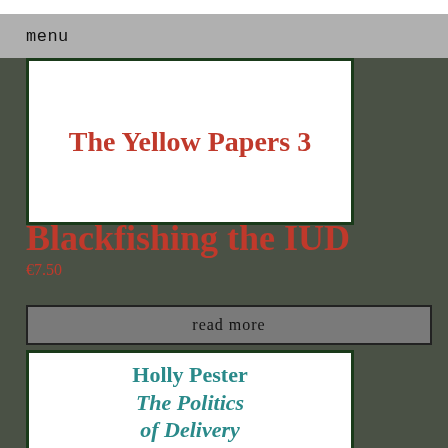menu
[Figure (illustration): Book cover for 'The Yellow Papers 3' — white background with red serif bold title text]
Blackfishing the IUD
€7.50
read more
[Figure (illustration): Book cover for 'Holly Pester The Politics of Delivery (Against' — white background with teal/dark-cyan serif italic text]